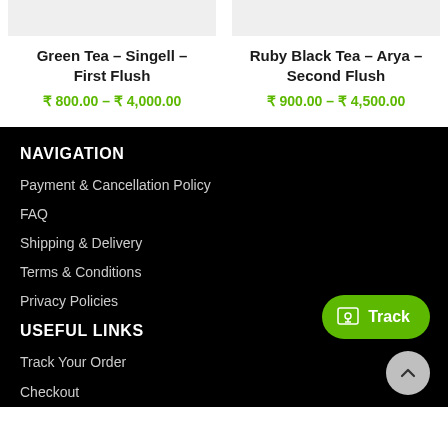Green Tea – Singell – First Flush
₹ 800.00 – ₹ 4,000.00
Ruby Black Tea – Arya – Second Flush
₹ 900.00 – ₹ 4,500.00
NAVIGATION
Payment & Cancellation Policy
FAQ
Shipping & Delivery
Terms & Conditions
Privacy Policies
USEFUL LINKS
Track Your Order
Checkout